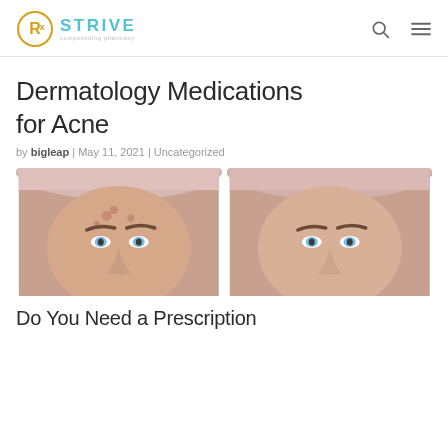[Figure (logo): RxStrive Compounding Pharmacy logo — circular Rx symbol in gold/yellow beside STRIVE in teal, with 'compounding pharmacy' subtitle]
Dermatology Medications for Acne
by bigleap | May 11, 2021 | Uncategorized
[Figure (photo): Before-and-after side-by-side photos of a woman's face showing acne skin on the left and clearer skin on the right, both with hair pulled back in a towel]
Do You Need a Prescription Acne Medication?